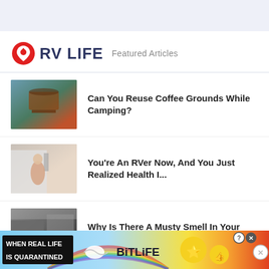[Figure (logo): RV LIFE logo with red map pin icon and 'Featured Articles' subtitle]
Can You Reuse Coffee Grounds While Camping?
You're An RVer Now, And You Just Realized Health I...
Why Is There A Musty Smell In Your RV?
How To Grow Tomatoes In Your RV
[Figure (screenshot): BitLife advertisement banner: WHEN REAL LIFE IS QUARANTINED with BitLife logo and star-eyes emoji]